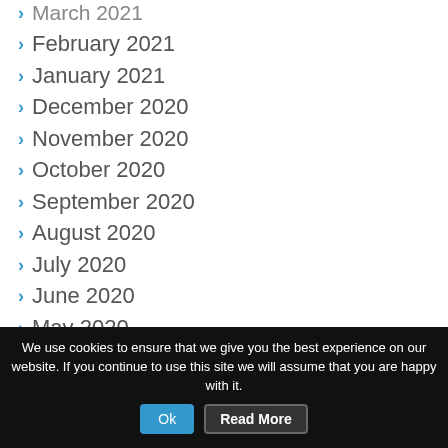March 2021
February 2021
January 2021
December 2020
November 2020
October 2020
September 2020
August 2020
July 2020
June 2020
May 2020
April 2020
March 2020
February 2020
January 2020
We use cookies to ensure that we give you the best experience on our website. If you continue to use this site we will assume that you are happy with it.